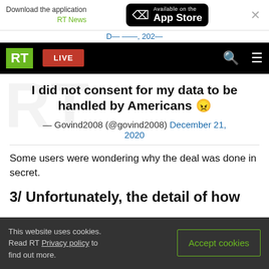Download the application RT News — Available on the App Store
RT LIVE
I did not consent for my data to be handled by Americans 😨
— Govind2008 (@govind2008) December 21, 2020
Some users were wondering why the deal was done in secret.
3/ Unfortunately, the detail of how
This website uses cookies. Read RT Privacy policy to find out more.